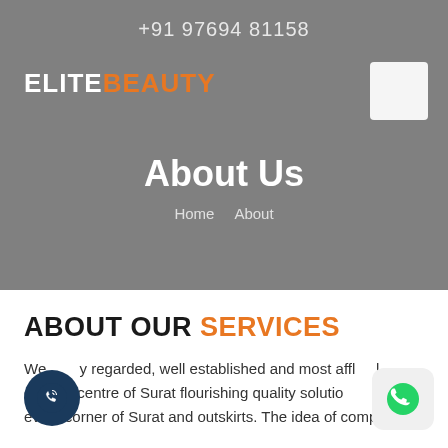+91 97694 81158
ELITEBEAUTY
About Us
Home   About
ABOUT OUR SERVICES
We are highly regarded, well established and most affluent girl's centre of Surat flourishing quality solutions to every corner of Surat and outskirts. The idea of company